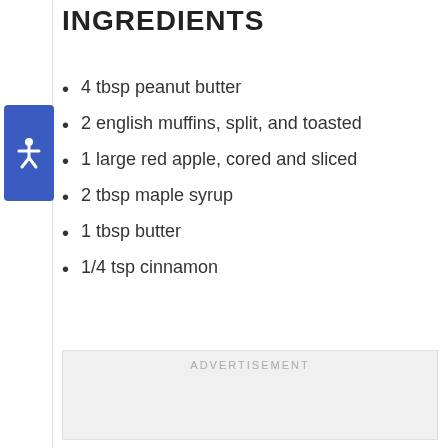INGREDIENTS
4 tbsp peanut butter
2 english muffins, split, and toasted
1 large red apple, cored and sliced
2 tbsp maple syrup
1 tbsp butter
1/4 tsp cinnamon
ADVERTISEMENT